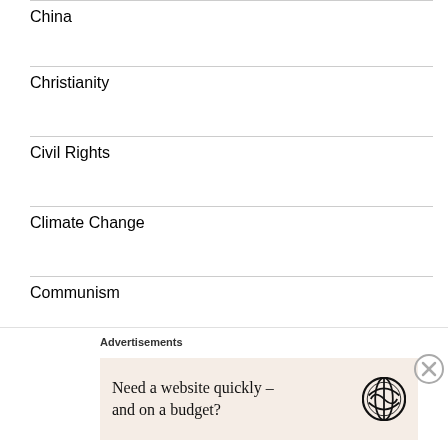China
Christianity
Civil Rights
Climate Change
Communism
Congo
Conspiracy Theories
Advertisements
Need a website quickly – and on a budget?